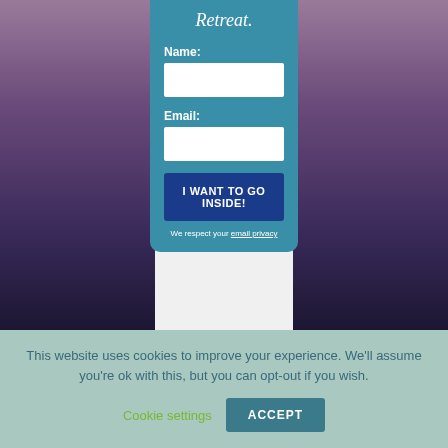Retreat.
Name:
Email:
I WANT TO GO INSIDE!
We respect your email privacy
ABOUT
This website uses cookies to improve your experience. We'll assume you're ok with this, but you can opt-out if you wish.
Cookie settings
ACCEPT